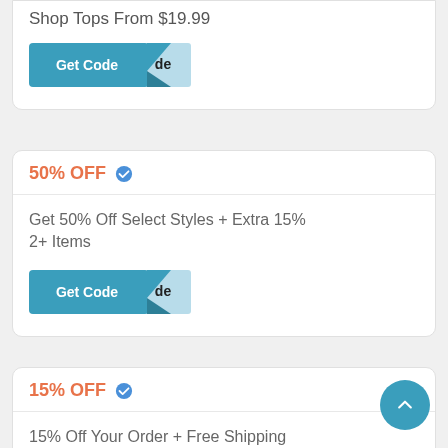Shop Tops From $19.99
[Figure (other): Get Code button with folded flap effect]
50% OFF
Get 50% Off Select Styles + Extra 15% 2+ Items
[Figure (other): Get Code button with folded flap effect]
15% OFF
15% Off Your Order + Free Shipping With Email Sign Up